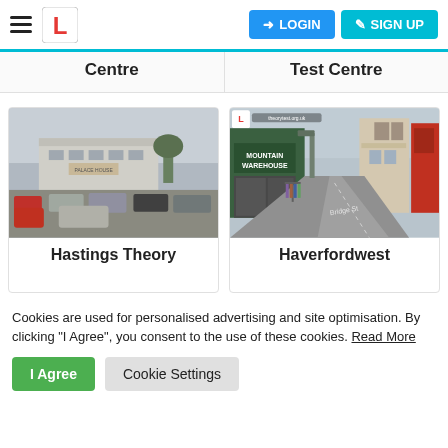LOGIN | SIGN UP
Centre
Test Centre
[Figure (photo): Street view of a car park outside a building with several cars parked - Hastings Theory Test Centre location]
[Figure (photo): Street view of a pedestrian shopping street with Mountain Warehouse store visible - Haverfordwest Test Centre location]
Hastings Theory
Haverfordwest
Cookies are used for personalised advertising and site optimisation. By clicking "I Agree", you consent to the use of these cookies. Read More
I Agree | Cookie Settings